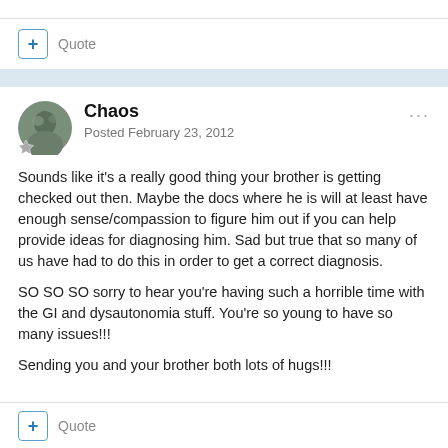Quote
Chaos
Posted February 23, 2012
Sounds like it's a really good thing your brother is getting checked out then. Maybe the docs where he is will at least have enough sense/compassion to figure him out if you can help provide ideas for diagnosing him. Sad but true that so many of us have had to do this in order to get a correct diagnosis.

SO SO SO sorry to hear you're having such a horrible time with the GI and dysautonomia stuff. You're so young to have so many issues!!!

Sending you and your brother both lots of hugs!!!
Quote